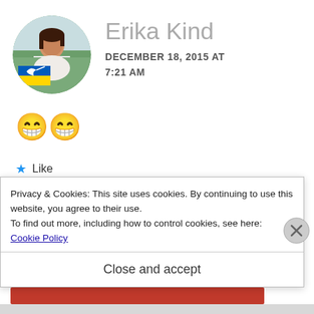[Figure (photo): Circular avatar photo of Erika Kind, a woman with dark hair, with a Ukrainian flag emoji overlay in the lower left of the circle]
Erika Kind
DECEMBER 18, 2015 AT 7:21 AM
😁😁
★ Like
Privacy & Cookies: This site uses cookies. By continuing to use this website, you agree to their use.
To find out more, including how to control cookies, see here: Cookie Policy
Close and accept